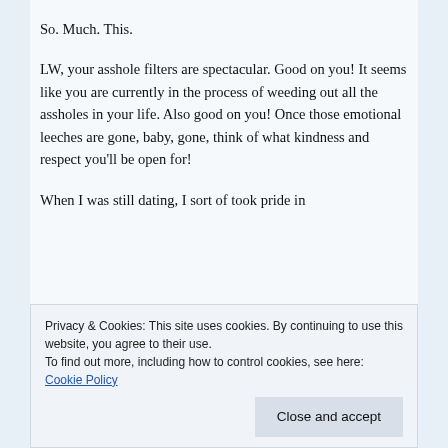So. Much. This.
LW, your asshole filters are spectacular. Good on you! It seems like you are currently in the process of weeding out all the assholes in your life. Also good on you! Once those emotional leeches are gone, baby, gone, think of what kindness and respect you'll be open for!
When I was still dating, I sort of took pride in
Privacy & Cookies: This site uses cookies. By continuing to use this website, you agree to their use.
To find out more, including how to control cookies, see here: Cookie Policy
that you can't have me," because in the long